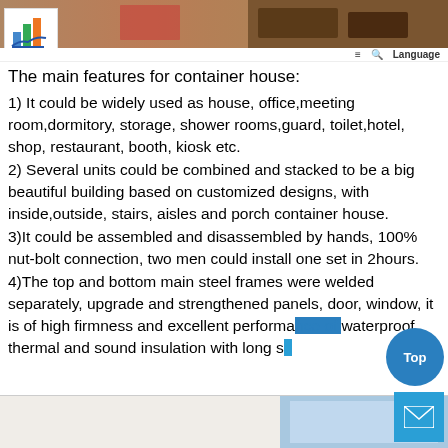[Figure (screenshot): Website header with photos of container house interiors and a logo with navigation icons (hamburger menu, search, Language)]
The main features for container house:
1) It could be widely used as house, office,meeting room,dormitory, storage, shower rooms,guard, toilet,hotel, shop, restaurant, booth, kiosk etc.
2) Several units could be combined and stacked to be a big beautiful building based on customized designs, with inside,outside, stairs, aisles and porch container house.
3)It could be assembled and disassembled by hands, 100% nut-bolt connection, two men could install one set in 2hours.
4)The top and bottom main steel frames were welded separately, upgrade and strengthened panels, door, window, it is of high firmness and excellent performance of waterproof, thermal and sound insulation with long se...